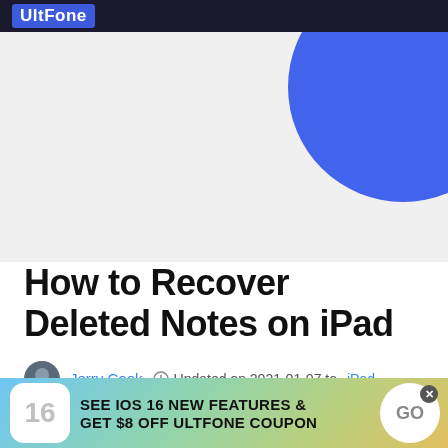UltFone
[Figure (illustration): Light gray hero area with a large blue circle partially visible in the top-right corner]
How to Recover Deleted Notes on iPad
Jerry Cook  Updated on 2021-01-07 to  iPad
The Notes app on the iPhone/iPad is crucial as it handles daily tasks for us. It syncs up all data among
[Figure (infographic): Ad banner: iOS 16 icon on left, text SEE IOS 16 NEW FEATURES & GET $8 OFF ULTFONE COUPON in center, GO button on right]